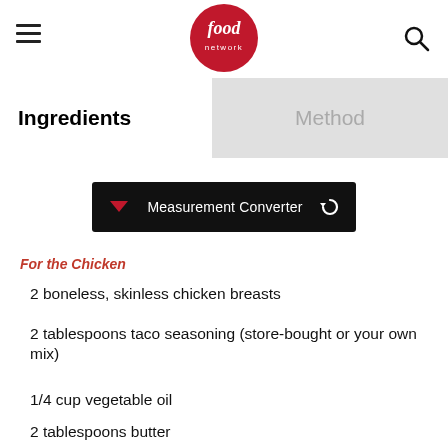Food Network
Ingredients
Method
Measurement Converter
For the Chicken
2 boneless, skinless chicken breasts
2 tablespoons taco seasoning (store-bought or your own mix)
1/4 cup vegetable oil
2 tablespoons butter